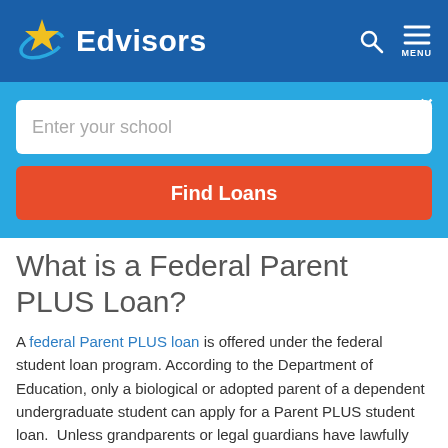[Figure (logo): Edvisors logo with yellow star and white text on blue header background, with search and menu icons]
[Figure (screenshot): Search interface with 'Enter your school' input field and 'Find Loans' red button on light blue background with close X button]
What is a Federal Parent PLUS Loan?
A federal Parent PLUS loan is offered under the federal student loan program. According to the Department of Education, only a biological or adopted parent of a dependent undergraduate student can apply for a Parent PLUS student loan. Unless grandparents or legal guardians have lawfully adopted the student, they do not qualify for Parent PLUS loans.